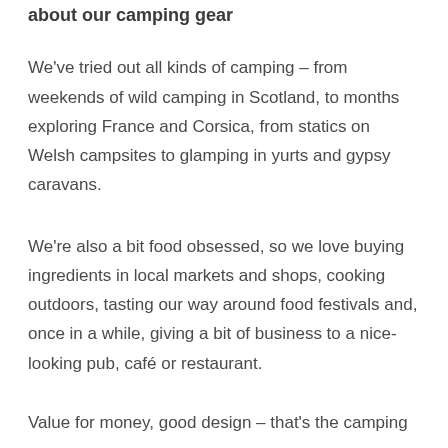about our camping gear
We've tried out all kinds of camping – from weekends of wild camping in Scotland, to months exploring France and Corsica, from statics on Welsh campsites to glamping in yurts and gypsy caravans.
We're also a bit food obsessed, so we love buying ingredients in local markets and shops, cooking outdoors, tasting our way around food festivals and, once in a while, giving a bit of business to a nice-looking pub, café or restaurant.
Value for money, good design – that's the camping